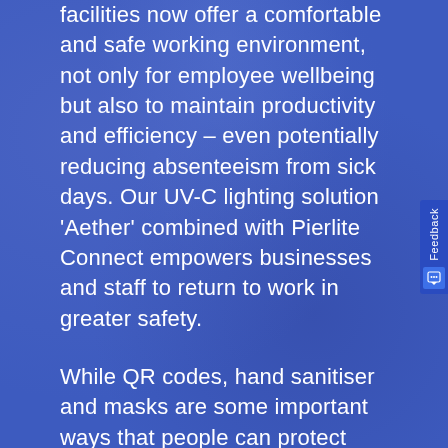facilities now offer a comfortable and safe working environment, not only for employee wellbeing but also to maintain productivity and efficiency – even potentially reducing absenteeism from sick days. Our UV-C lighting solution 'Aether' combined with Pierlite Connect empowers businesses and staff to return to work in greater safety.
While QR codes, hand sanitiser and masks are some important ways that people can protect their personal health, these methods place sole emphasis on the individual. Pierlite's integrated technologies go beyond individual's actions and provide organisations with tools to make a real difference. By combining smart individual choices with the power of Aether and Pierlite Connect,